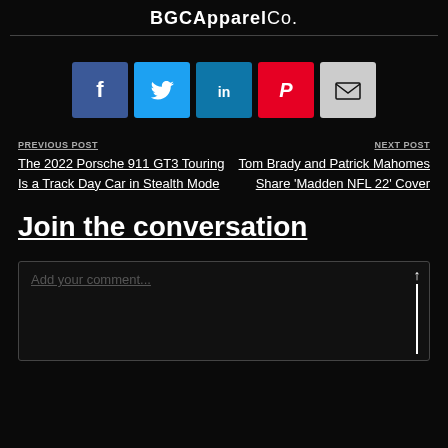BGCApparelCo.
[Figure (infographic): Row of five social media share buttons: Facebook (blue), Twitter (light blue), LinkedIn (dark blue), Pinterest (red), Email (light gray)]
PREVIOUS POST
The 2022 Porsche 911 GT3 Touring Is a Track Day Car in Stealth Mode
NEXT POST
Tom Brady and Patrick Mahomes Share 'Madden NFL 22' Cover
Join the conversation
Add your comment...